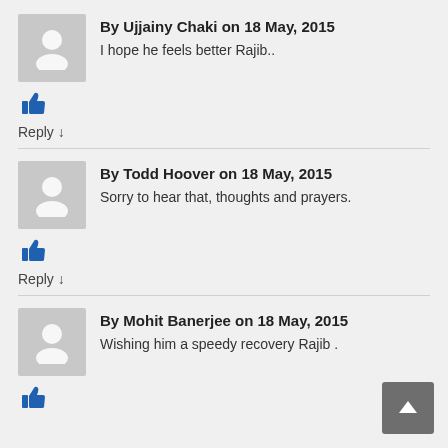By Ujjainy Chaki on 18 May, 2015
I hope he feels better Rajib..
Reply ↓
By Todd Hoover on 18 May, 2015
Sorry to hear that, thoughts and prayers.
Reply ↓
By Mohit Banerjee on 18 May, 2015
Wishing him a speedy recovery Rajib .